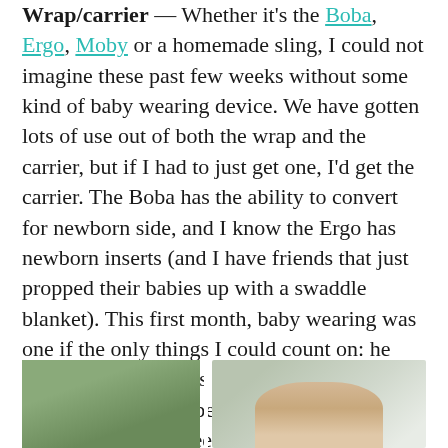Wrap/carrier — Whether it's the Boba, Ergo, Moby or a homemade sling, I could not imagine these past few weeks without some kind of baby wearing device. We have gotten lots of use out of both the wrap and the carrier, but if I had to just get one, I'd get the carrier. The Boba has the ability to convert for newborn side, and I know the Ergo has newborn inserts (and I have friends that just propped their babies up with a swaddle blanket). This first month, baby wearing was one if the only things I could count on: he would almost always be calm when I wore him. Naps only happened against me, and having my hands free was invaluable.
[Figure (photo): Two side-by-side photos at the bottom of the page, partially cropped. Left photo shows a person with green foliage/trees in the background. Right photo appears to show a lighter indoor or outdoor scene.]